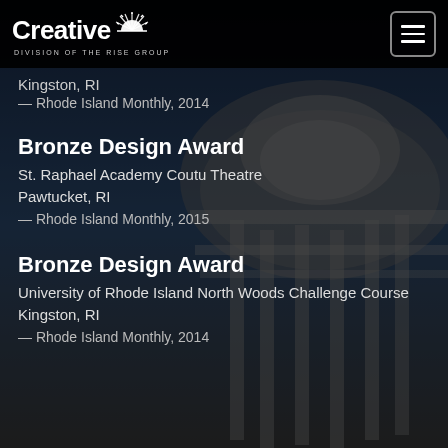[Figure (photo): Dark background photo of a classical building dome (likely Rhode Island State House), overlaid with a semi-transparent dark filter]
Creative — Division of The Rise Group (logo with hamburger menu button)
Kingston, RI
— Rhode Island Monthly, 2014
Bronze Design Award
St. Raphael Academy Coutu Theatre
Pawtucket, RI
— Rhode Island Monthly, 2015
Bronze Design Award
University of Rhode Island North Woods Challenge Course
Kingston, RI
— Rhode Island Monthly, 2014